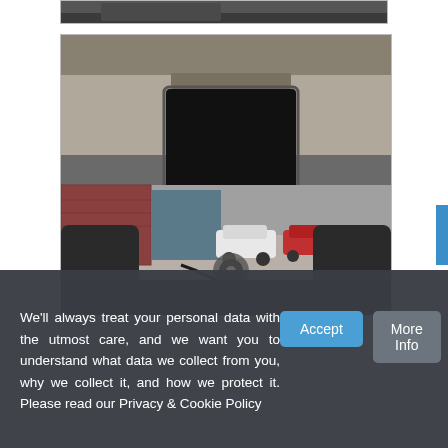[Figure (photo): Partial top edge of a cropped photo, dark background visible at top of page]
[Figure (photo): Interior view from the back seat of a vehicle showing a roof-mounted flip-down monitor/screen (black), two front headrests, a steering wheel, and a parking lot outside with red brick building and several parked cars including white and red vehicles]
We'll always treat your personal data with the utmost care, and we want you to understand what data we collect from you, why we collect it, and how we protect it. Please read our Privacy & Cookie Policy